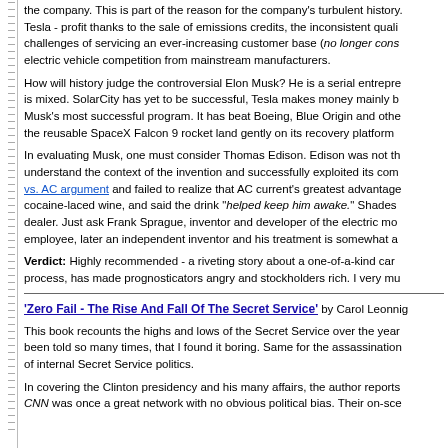the company. This is part of the reason for the company's turbulent history. Tesla - profit thanks to the sale of emissions credits, the inconsistent quali challenges of servicing an ever-increasing customer base (no longer cons electric vehicle competition from mainstream manufacturers.
How will history judge the controversial Elon Musk? He is a serial entrepre is mixed. SolarCity has yet to be successful, Tesla makes money mainly b Musk's most successful program. It has beat Boeing, Blue Origin and othe the reusable SpaceX Falcon 9 rocket land gently on its recovery platform
In evaluating Musk, one must consider Thomas Edison. Edison was not th understand the context of the invention and successfully exploited its com vs. AC argument and failed to realize that AC current's greatest advantage cocaine-laced wine, and said the drink "helped keep him awake." Shades dealer. Just ask Frank Sprague, inventor and developer of the electric mo employee, later an independent inventor and his treatment is somewhat a
Verdict: Highly recommended - a riveting story about a one-of-a-kind car process, has made prognosticators angry and stockholders rich. I very mu
'Zero Fail - The Rise And Fall Of The Secret Service' by Carol Leonnig
This book recounts the highs and lows of the Secret Service over the year been told so many times, that I found it boring. Same for the assassination of internal Secret Service politics.
In covering the Clinton presidency and his many affairs, the author reports CNN was once a great network with no obvious political bias. Their on-sce